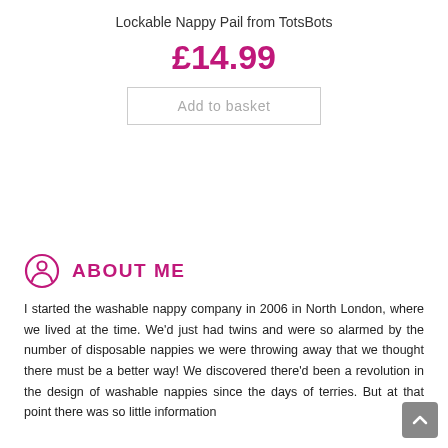Lockable Nappy Pail from TotsBots
£14.99
Add to basket
ABOUT ME
I started the washable nappy company in 2006 in North London, where we lived at the time. We'd just had twins and were so alarmed by the number of disposable nappies we were throwing away that we thought there must be a better way! We discovered there'd been a revolution in the design of washable nappies since the days of terries. But at that point there was so little information